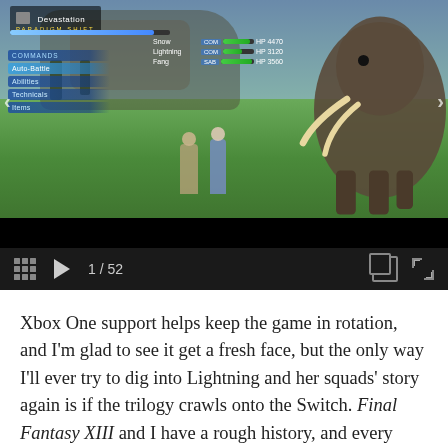[Figure (screenshot): Final Fantasy XIII gameplay screenshot showing battle scene with characters Snow, Lightning, and Fang facing a mammoth-like enemy. UI shows command menu on left (Commands, Auto-Battle, Abilities, Technicals, Items) and character status bars on right showing HP values. Top-left shows 'Devastation PARADIGM SHIFT' indicator.]
1 / 52
Xbox One support helps keep the game in rotation, and I'm glad to see it get a fresh face, but the only way I'll ever try to dig into Lightning and her squads' story again is if the trilogy crawls onto the Switch. Final Fantasy XIII and I have a rough history, and every time it pops up on a new console, I'm reminded how its nonsensical sto…